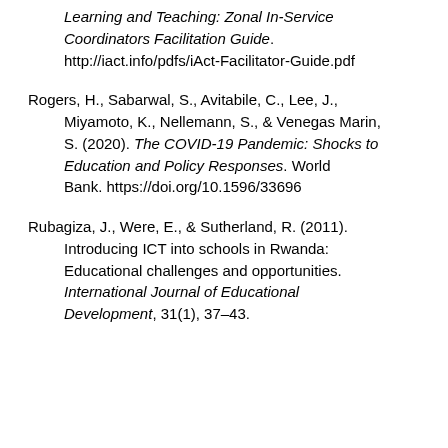Roger Federer Foundation (2018). Interactive Learning and Teaching: Zonal In-Service Coordinators Facilitation Guide. http://iact.info/pdfs/iAct-Facilitator-Guide.pdf
Rogers, H., Sabarwal, S., Avitabile, C., Lee, J., Miyamoto, K., Nellemann, S., & Venegas Marin, S. (2020). The COVID-19 Pandemic: Shocks to Education and Policy Responses. World Bank. https://doi.org/10.1596/33696
Rubagiza, J., Were, E., & Sutherland, R. (2011). Introducing ICT into schools in Rwanda: Educational challenges and opportunities. International Journal of Educational Development, 31(1), 37–43.